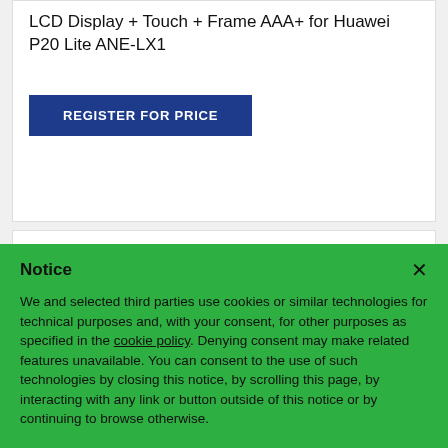LCD Display + Touch + Frame AAA+ for Huawei P20 Lite ANE-LX1
REGISTER FOR PRICE
[Figure (logo): Huawei logo with red flower emblem and 'HUAWEI' text below]
Notice
We and selected third parties use cookies or similar technologies for technical purposes and, with your consent, for other purposes as specified in the cookie policy. Denying consent may make related features unavailable. You can consent to the use of such technologies by closing this notice, by scrolling this page, by interacting with any link or button outside of this notice or by continuing to browse otherwise.